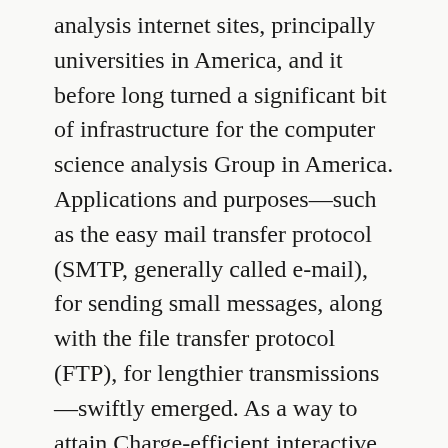analysis internet sites, principally universities in America, and it before long turned a significant bit of infrastructure for the computer science analysis Group in America. Applications and purposes—such as the easy mail transfer protocol (SMTP, generally called e-mail), for sending small messages, along with the file transfer protocol (FTP), for lengthier transmissions—swiftly emerged. As a way to attain Charge-efficient interactive communications amongst pcs, which usually converse To put it briefly bursts of information, ARPANET utilized The brand new technological innovation of packet switching. Packet switching takes massive